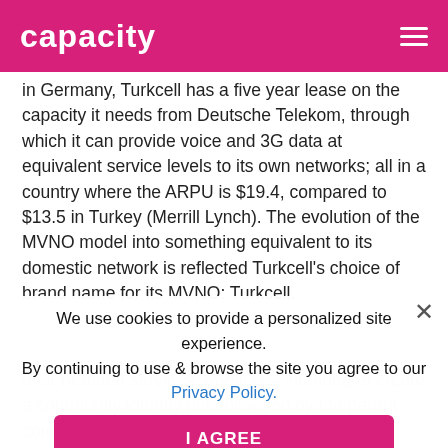capacity
in Germany, Turkcell has a five year lease on the capacity it needs from Deutsche Telekom, through which it can provide voice and 3G data at equivalent service levels to its own networks; all in a country where the ARPU is $19.4, compared to $13.5 in Turkey (Merrill Lynch). The evolution of the MVNO model into something equivalent to its domestic network is reflected Turkcell's choice of brand name for its MVNO: Turkcell.
We use cookies to provide a personalized site experience. By continuing to use & browse the site you agree to our Privacy Policy.
their branded services. MVNOs – intended to create a community identity not conveyed by the parent company. German community already has two MVNOs: Cosmo and Ay Yildiz. But there are no sub-brands in this case: trading as 'Turkcell Europe', it aims to remind Turks of home by using the name of